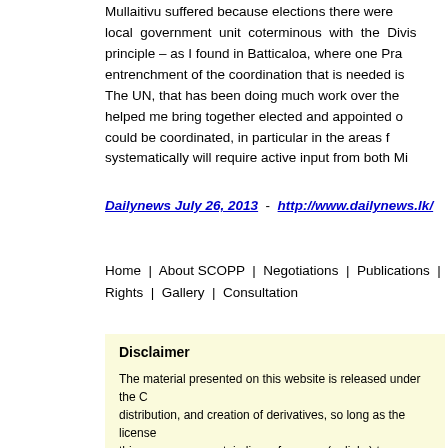Mullaitivu suffered because elections there were local government unit coterminous with the Divis principle – as I found in Batticaloa, where one Pra entrenchment of the coordination that is needed is The UN, that has been doing much work over the helped me bring together elected and appointed o could be coordinated, in particular in the areas f systematically will require active input from both Mi
Dailynews July 26, 2013 - http://www.dailynews.lk/
Home | About SCOPP | Negotiations | Publications | Rights | Gallery | Consultation
Disclaimer
The material presented on this website is released under the C distribution, and creation of derivatives, so long as the license this server may contain live references (or links) to information responsible.The views expressed in the material on this websit